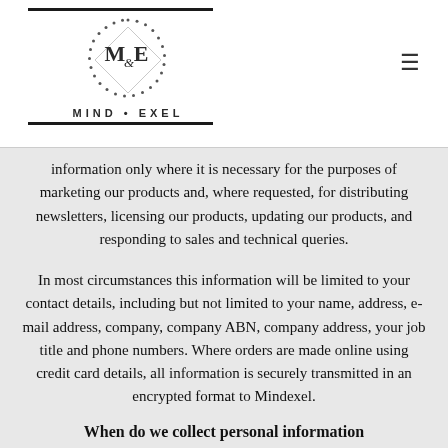[Figure (logo): Mind Exel logo with decorative circle made of dots, M&E monogram inside, horizontal rules above and below, text MIND • EXEL]
information only where it is necessary for the purposes of marketing our products and, where requested, for distributing newsletters, licensing our products, updating our products, and responding to sales and technical queries.
In most circumstances this information will be limited to your contact details, including but not limited to your name, address, e-mail address, company, company ABN, company address, your job title and phone numbers. Where orders are made online using credit card details, all information is securely transmitted in an encrypted format to Mindexel.
When do we collect personal information